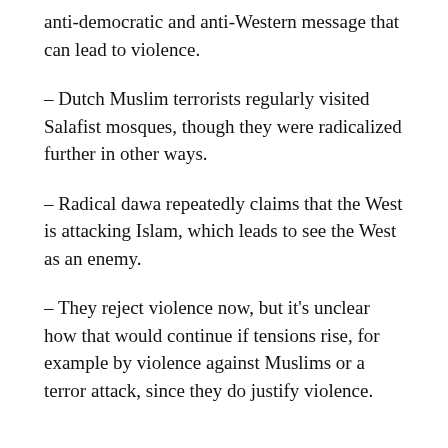anti-democratic and anti-Western message that can lead to violence.
– Dutch Muslim terrorists regularly visited Salafist mosques, though they were radicalized further in other ways.
– Radical dawa repeatedly claims that the West is attacking Islam, which leads to see the West as an enemy.
– They reject violence now, but it's unclear how that would continue if tensions rise, for example by violence against Muslims or a terror attack, since they do justify violence.